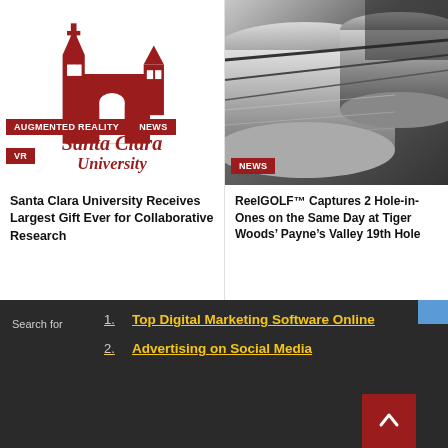[Figure (logo): Santa Clara University logo — red mission church building silhouette above 'Santa Clara University' text in red]
Augmented Reality
News
VR
Santa Clara University Receives Largest Gift Ever for Collaborative Research
[Figure (photo): Black and white close-up photograph of large rolls of newspaper or paper on a printing press, shot from a low angle]
News
ReelGOLF™ Captures 2 Hole-in-Ones on the Same Day at Tiger Woods' Payne's Valley 19th Hole
Search for
1. Top Digital Marketing Software Online
2. Advertising on Social Media